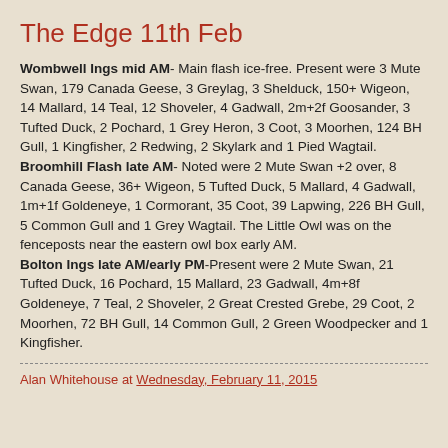The Edge 11th Feb
Wombwell Ings mid AM- Main flash ice-free. Present were 3 Mute Swan, 179 Canada Geese, 3 Greylag, 3 Shelduck, 150+ Wigeon, 14 Mallard, 14 Teal, 12 Shoveler, 4 Gadwall, 2m+2f Goosander, 3 Tufted Duck, 2 Pochard, 1 Grey Heron, 3 Coot, 3 Moorhen, 124 BH Gull, 1 Kingfisher, 2 Redwing, 2 Skylark and 1 Pied Wagtail. Broomhill Flash late AM- Noted were 2 Mute Swan +2 over, 8 Canada Geese, 36+ Wigeon, 5 Tufted Duck, 5 Mallard, 4 Gadwall, 1m+1f Goldeneye, 1 Cormorant, 35 Coot, 39 Lapwing, 226 BH Gull, 5 Common Gull and 1 Grey Wagtail. The Little Owl was on the fenceposts near the eastern owl box early AM. Bolton Ings late AM/early PM-Present were 2 Mute Swan, 21 Tufted Duck, 16 Pochard, 15 Mallard, 23 Gadwall, 4m+8f Goldeneye, 7 Teal, 2 Shoveler, 2 Great Crested Grebe, 29 Coot, 2 Moorhen, 72 BH Gull, 14 Common Gull, 2 Green Woodpecker and 1 Kingfisher.
Alan Whitehouse at Wednesday, February 11, 2015